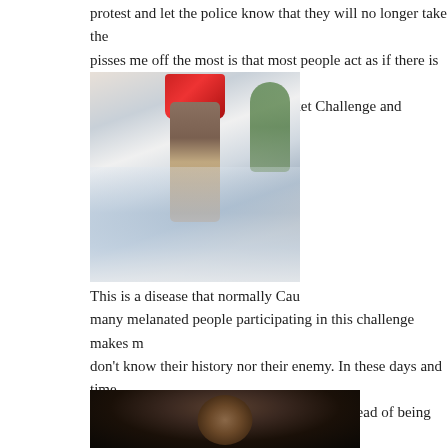protest and let the police know that they will no longer take the pisses me off the most is that most people act as if there is nothi people are focused on the Ice Bucket Challenge and donating m
[Figure (photo): Person pouring a red bucket of ice water over their head outdoors, with palm trees in background — Ice Bucket Challenge photo]
This is a disease that normally Cau many melanated people participating in this challenge makes m don't know their history nor their enemy. In these days and time tune with who we are as spiritual beings instead of being distrac that most people know what happen at the VMA Awards and S
[Figure (photo): Portrait of a bald Black man against a dark background, appearing to be a public figure or celebrity]